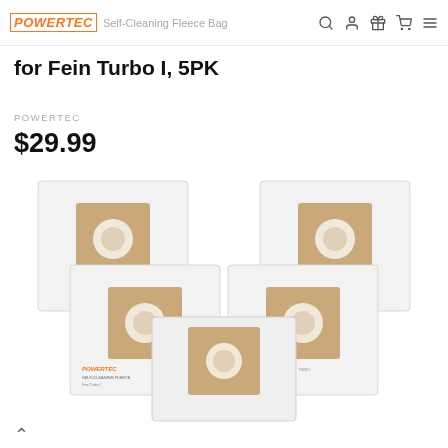POWERTEC Self-Cleaning Fleece Bag for Fein Turbo I, 5PK
for Fein Turbo I, 5PK
POWERTEC
$29.99
[Figure (photo): Five white fleece vacuum bags with brown paper filter inserts and circular openings, arranged in a fan/stack pattern. Each bag has a POWERTEC logo and label reading SELF-CLEANING FLEECE BAG for Fein Turbo I.]